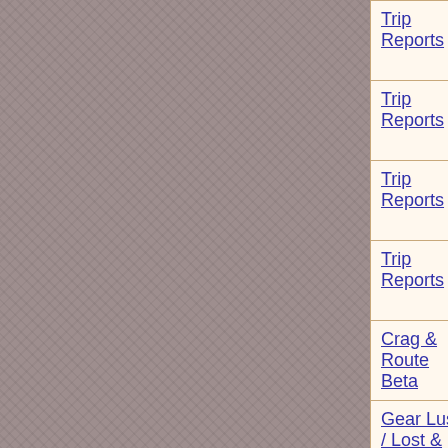| Category | Date | User | Title |
| --- | --- | --- | --- |
| Trip Reports | 24-Aug-2009 | mikllaw | Sluj Gulpa - T... Gib |
| Trip Reports | 24-Aug-2009 | mikllaw | Sluj Gulpa - T... Gib |
| Trip Reports | 24-Aug-2009 | mikllaw | Sluj Gulpa - T... Gib |
| Trip Reports | 24-Aug-2009 | mikllaw | Sluj Gulpa - T... Gib |
| Crag & Route Beta | 24-Aug-2009 | mikllaw | Albino bungor... |
| Gear Lust / Lost & Found | 21-Aug-2009 | mikllaw | chains and bir... off meaty Mes... |
| Gear Lust / Lost & Found | 21-Aug-2009 | mikllaw | chains and bir... off meaty Mes... |
| Gear Lust / Lost & Found | 21-Aug-2009 | mikllaw | chains and bir... off meaty Mes... |
Found 119 ...    Most Re...